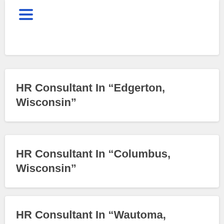[Figure (other): Hamburger menu icon with three horizontal blue lines]
HR Consultant In “Edgerton, Wisconsin”
HR Consultant In “Columbus, Wisconsin”
HR Consultant In “Wautoma, Wisconsin”